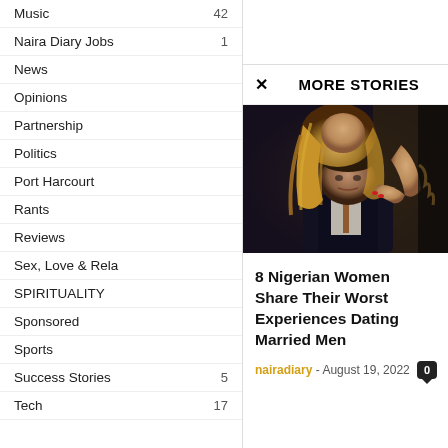Music 42
Naira Diary Jobs 1
News
Opinions
Partnership
Politics
Port Harcourt
Rants
Reviews
Sex, Love & Rela
SPIRITUALITY
Sponsored
Sports
Success Stories 5
Tech 17
MORE STORIES
[Figure (photo): A woman with long blonde hair leaning over a man in a suit and bow tie, in a dark dramatic setting]
8 Nigerian Women Share Their Worst Experiences Dating Married Men
nairadiary - August 19, 2022